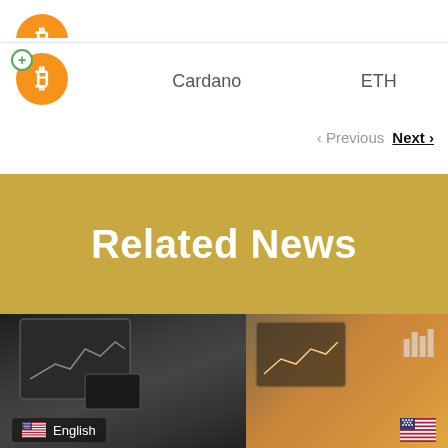[Figure (screenshot): Partial cryptocurrency row showing top of Bitcoin icon on white table row]
|  | Cardano | ETH |
| --- | --- | --- |
| [Bitcoin icon] | Cardano | ETH |
< Previous  Next >
Related News
[Figure (photo): Dark and warm-toned photo of laptops/tablets displaying financial charts, with English flag badge and US flag in bottom right]